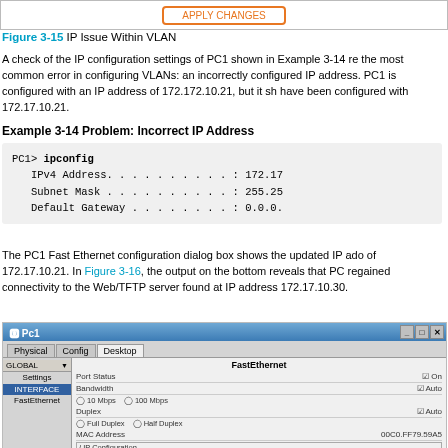[Figure (screenshot): Top portion of a diagram showing IP Issue Within VLAN with an orange button]
Figure 3-15 IP Issue Within VLAN
A check of the IP configuration settings of PC1 shown in Example 3-14 reveals the most common error in configuring VLANs: an incorrectly configured IP address. PC1 is configured with an IP address of 172.172.10.21, but it should have been configured with 172.17.10.21.
Example 3-14 Problem: Incorrect IP Address
PC1> ipconfig
   IPv4 Address. . . . . . . . . . : 172.17
   Subnet Mask . . . . . . . . . . : 255.25
   Default Gateway . . . . . . . . : 0.0.0.
The PC1 Fast Ethernet configuration dialog box shows the updated IP address of 172.17.10.21. In Figure 3-16, the output on the bottom reveals that PC1 has regained connectivity to the Web/TFTP server found at IP address 172.17.10.30.
[Figure (screenshot): PC1 configuration dialog box showing FastEthernet settings with Port Status, Bandwidth, Duplex, MAC Address, and IP Configuration fields]